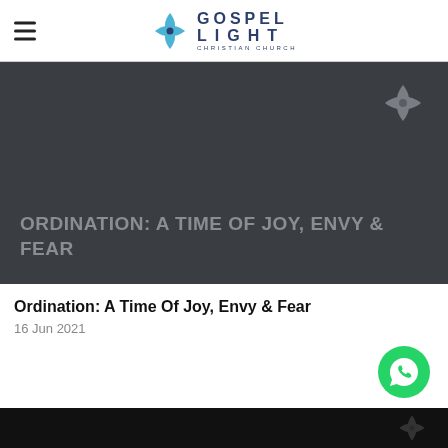GOSPEL LIGHT CHRISTIAN CHURCH
[Figure (screenshot): Dark banner image with Gospel Light cross logo in top right corner and bold text reading ORDINATION: A TIME OF JOY, ENVY & FEAR]
Ordination: A Time Of Joy, Envy & Fear
16 Jun 2021
[Figure (other): WhatsApp floating button (green circle with phone icon)]
[Figure (other): Black bottom bar with Gospel Light cross logo watermark]